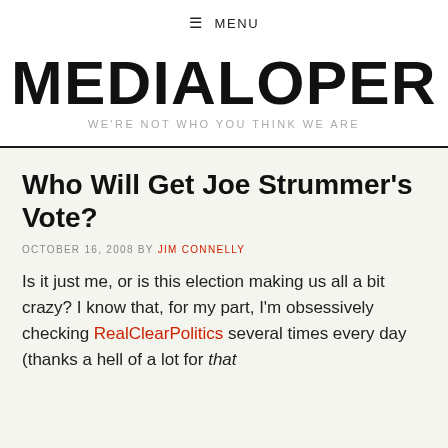≡ MENU
MEDIALOPER
WE'RE NOT WHO YOU THINK WE ARE
Who Will Get Joe Strummer's Vote?
OCTOBER 16, 2008 BY JIM CONNELLY
Is it just me, or is this election making us all a bit crazy? I know that, for my part, I'm obsessively checking RealClearPolitics several times every day (thanks a hell of a lot for that